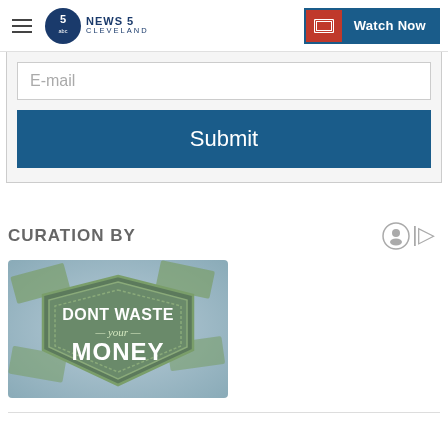News 5 Cleveland — Watch Now
E-mail
Submit
CURATION BY
[Figure (illustration): Don't Waste Your Money — promotional image with money/cash bills background and text 'DONT WASTE your MONEY' on a green badge/shield graphic]